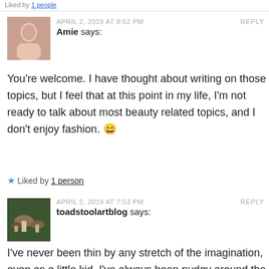Liked by 1 people
APRIL 2, 2019 AT 8:52 PM   REPLY
Amie says:
You're welcome. I have thought about writing on those topics, but I feel that at this point in my life, I'm not ready to talk about most beauty related topics, and I don't enjoy fashion. 😄
★ Liked by 1 person
APRIL 2, 2019 AT 7:53 PM   REPLY
toadstoolartblog says:
I've never been thin by any stretch of the imagination, even as a little kid. I've always been pudgy around the